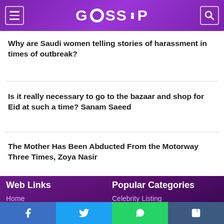GOSSIP
Why are Saudi women telling stories of harassment in times of outbreak?
Is it really necessary to go to the bazaar and shop for Eid at such a time? Sanam Saeed
The Mother Has Been Abducted From the Motorway Three Times, Zoya Nasir
Web Links
Home
About
Contact
Privacy Policy
Popular Categories
Celebrity Listing
Gossip
New
Technology
Facebook Twitter WhatsApp Tumblr